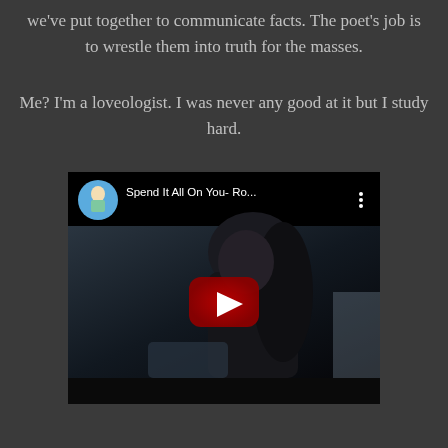we've put together to communicate facts. The poet's job is to wrestle them into truth for the masses.
Me? I'm a loveologist. I was never any good at it but I study hard.
[Figure (screenshot): Embedded YouTube video player showing a video titled 'Spend It All On You- Ro...' with a channel thumbnail of a blonde woman, a dark moody thumbnail image of a person with long dark hair, and a red YouTube play button overlay.]